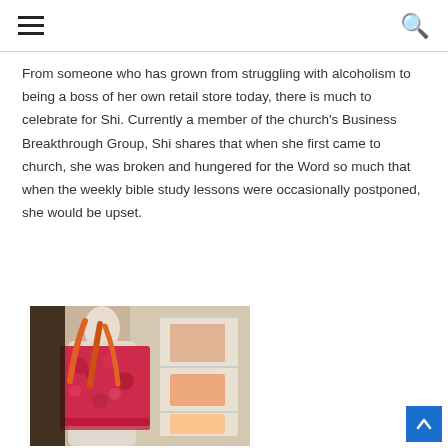Navigation header with hamburger menu and search icon
From someone who has grown from struggling with alcoholism to being a boss of her own retail store today, there is much to celebrate for Shi. Currently a member of the church's Business Breakthrough Group, Shi shares that when she first came to church, she was broken and hungered for the Word so much that when the weekly bible study lessons were occasionally postponed, she would be upset.
[Figure (photo): A mannequin displaying colorful floral clothing with orange straps in what appears to be a retail clothing store. Shelving with folded garments visible in the background.]